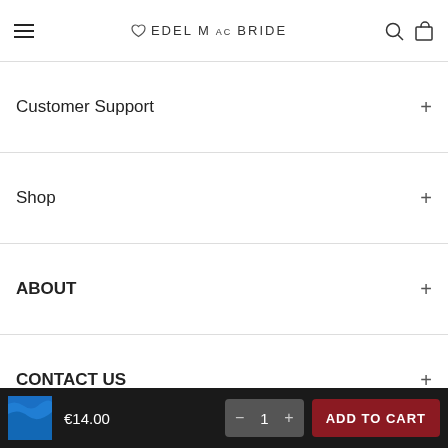EDEL MacBRIDE
Customer Support
Shop
ABOUT
CONTACT US
BE IN TOUCH WITH US:
€14.00
1
ADD TO CART